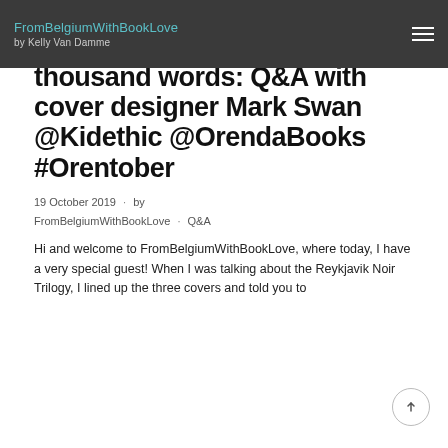FromBelgiumWithBookLove by Kelly Van Damme
thousand words: Q&A with cover designer Mark Swan @Kidethic @OrendaBooks #Orentober
19 October 2019 · by FromBelgiumWithBookLove · Q&A
Hi and welcome to FromBelgiumWithBookLove, where today, I have a very special guest! When I was talking about the Reykjavik Noir Trilogy, I lined up the three covers and told you to